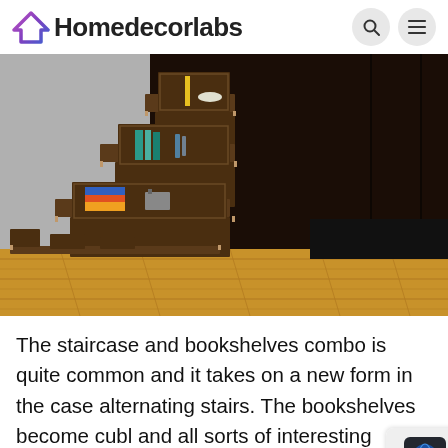Homedecorlabs
[Figure (photo): A staircase-bookshelf combo with dark wood treads and open cube shelving units built into the steps, containing books and decorative objects, on a wooden floor with dark walls.]
The staircase and bookshelves combo is quite common and it takes on a new form in the case of alternating stairs. The bookshelves become cubl and all sorts of interesting displays and patterns can